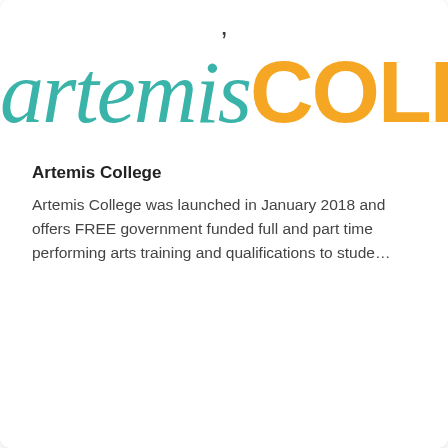[Figure (logo): Artemis College logo: the word 'artemis' in teal italic serif font and 'COLLEGE' in bold orange sans-serif font, with a small dot/apostrophe mark above]
Artemis College
Artemis College was launched in January 2018 and offers FREE government funded full and part time performing arts training and qualifications to stude...